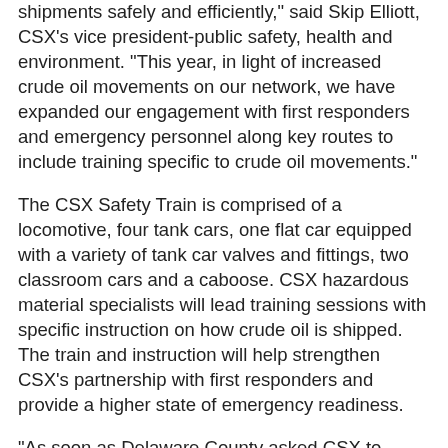shipments safely and efficiently," said Skip Elliott, CSX's vice president-public safety, health and environment. "This year, in light of increased crude oil movements on our network, we have expanded our engagement with first responders and emergency personnel along key routes to include training specific to crude oil movements."
The CSX Safety Train is comprised of a locomotive, four tank cars, one flat car equipped with a variety of tank car valves and fittings, two classroom cars and a caboose. CSX hazardous material specialists will lead training sessions with specific instruction on how crude oil is shipped. The train and instruction will help strengthen CSX's partnership with first responders and provide a higher state of emergency readiness.
"As soon as Delaware County asked CSX to arrange for training in preparation for the upcoming crude oil unit trains, they quickly worked with us and their partners to conduct emergency response training for our first responders," said Edwin J. Truitt, director, Delaware County (Pa.) Department of Emergency Services. "This is what comes from maintaining an effective working relationship with our partners at the railroads."